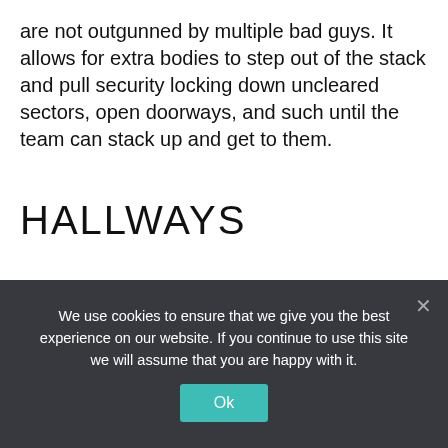are not outgunned by multiple bad guys. It allows for extra bodies to step out of the stack and pull security locking down uncleared sectors, open doorways, and such until the team can stack up and get to them.
HALLWAYS
“Stay out of the hallway, rounds ricochet off walls and travel into you, blah blah blah.…” How many times have you heard this in CQB training, that an enemy blasting rifle rounds down a hallway leads to rounds skipping off walls and turning anyone in the hallway
We use cookies to ensure that we give you the best experience on our website. If you continue to use this site we will assume that you are happy with it.